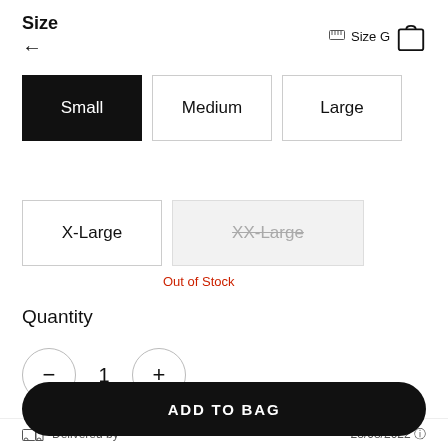Size
[Figure (illustration): Back arrow navigation icon]
Size Guide (ruler icon and bag icon top right)
Small (selected)
Medium
Large
X-Large
XX-Large (Out of Stock)
Out of Stock
Quantity
1
Delivered by  28/08/2022
ADD TO BAG